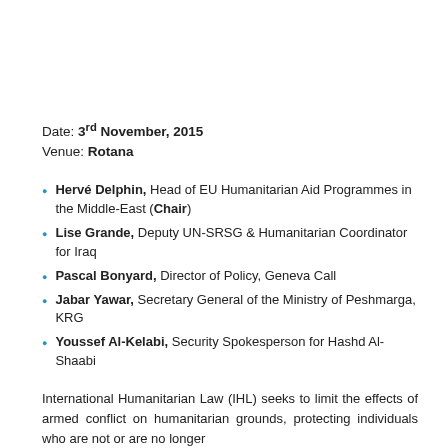Date: 3rd November, 2015
Venue: Rotana
Hervé Delphin, Head of EU Humanitarian Aid Programmes in the Middle-East (Chair)
Lise Grande, Deputy UN-SRSG & Humanitarian Coordinator for Iraq
Pascal Bonyard, Director of Policy, Geneva Call
Jabar Yawar, Secretary General of the Ministry of Peshmarga, KRG
Youssef Al-Kelabi, Security Spokesperson for Hashd Al-Shaabi
International Humanitarian Law (IHL) seeks to limit the effects of armed conflict on humanitarian grounds, protecting individuals who are not or are no longer